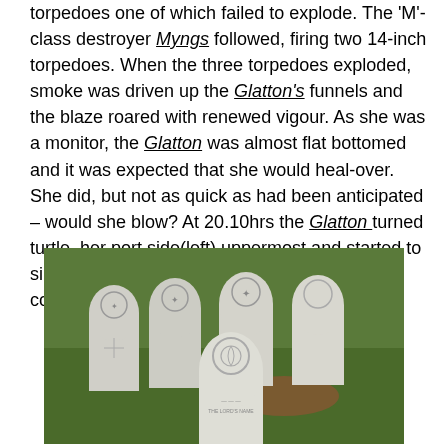torpedoes one of which failed to explode. The 'M'-class destroyer Myngs followed, firing two 14-inch torpedoes. When the three torpedoes exploded, smoke was driven up the Glatton's funnels and the blaze roared with renewed vigour. As she was a monitor, the Glatton was almost flat bottomed and it was expected that she would heal-over. She did, but not as quick as had been anticipated – would she blow? At 20.10hrs the Glatton turned turtle, her port side(left) uppermost and started to sink in 40-foot of water. Much to the relief of all concerned.
[Figure (photo): Five white Commonwealth War Graves Commission headstones arranged in grass, with carved emblems at the top of each stone.]